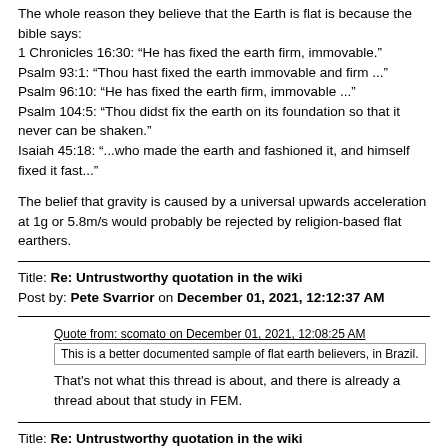The whole reason they believe that the Earth is flat is because the bible says:
1 Chronicles 16:30: “He has fixed the earth firm, immovable.”
Psalm 93:1: “Thou hast fixed the earth immovable and firm ...”
Psalm 96:10: “He has fixed the earth firm, immovable ...”
Psalm 104:5: “Thou didst fix the earth on its foundation so that it never can be shaken.”
Isaiah 45:18: “...who made the earth and fashioned it, and himself fixed it fast...”
The belief that gravity is caused by a universal upwards acceleration at 1g or 5.8m/s would probably be rejected by religion-based flat earthers.
Title: Re: Untrustworthy quotation in the wiki
Post by: Pete Svarrior on December 01, 2021, 12:12:37 AM
Quote from: scomato on December 01, 2021, 12:08:25 AM
This is a better documented sample of flat earth believers, in Brazil.
That's not what this thread is about, and there is already a thread about that study in FEM.
Title: Re: Untrustworthy quotation in the wiki
Post by: jimster on December 07, 2021, 06:45:49 PM
What is the significance of 52% thinking the moon landings